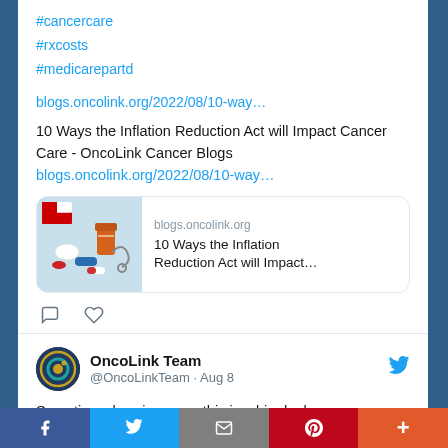#cancercare
#rxcosts
#medicarepartd
blogs.oncolink.org/2022/08/10-way...
10 Ways the Inflation Reduction Act will Impact Cancer Care - OncoLink Cancer Blogs blogs.oncolink.org/2022/08/10-way...
[Figure (screenshot): Link preview card showing blogs.oncolink.org with image of medications and the title: 10 Ways the Inflation Reduction Act will Impact...]
OncoLink Team @OncoLinkTeam · Aug 8
Sometimes less is more - this is a big deal